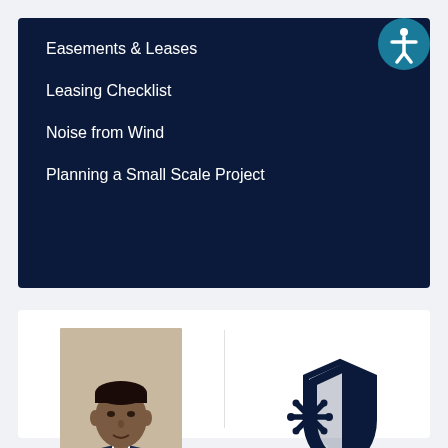Easements & Leases
Leasing Checklist
Noise from Wind
Planning a Small Scale Project
[Figure (photo): Portrait photo of a man in a dark suit with a gold tie, official government headshot]
Welcome to Chemung County
[Figure (illustration): COVID-19 shield icon — a shield with a coronavirus/asterisk symbol, in dark navy blue]
COVID-19 Information